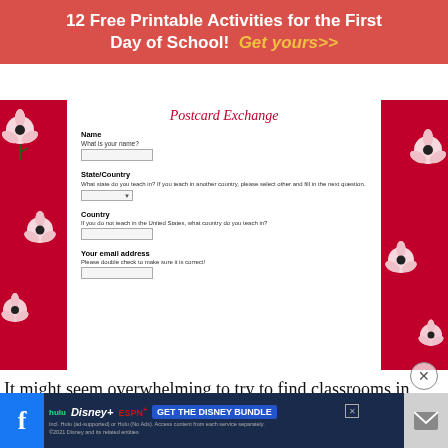12 Free Printable Activities for the First Day of School! Get yours>>
[Figure (screenshot): Screenshot of a Postcard Exchange sign-up form with fields for Name, State/Country, Country, and Your email address, flanked by red floral decorative borders.]
It might seem overwhelming to try to find classrooms in other states willing to participate in your exchange, but it's not as hard as you think! The internet is full of teachers looking to do this
GET THE DISNEY BUNDLE — Incl. Hulu (ad-supported) or Hulu (No Ads). Access content from each service separately. ©2021 Disney and its related entities